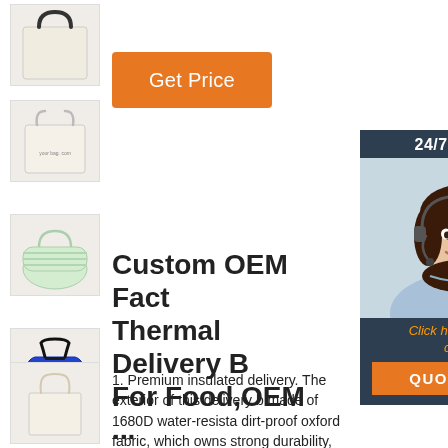[Figure (photo): Thumbnail image of a beige/cream tote bag with dark handles]
[Figure (photo): Thumbnail image of a natural canvas tote bag with short handles and text]
[Figure (photo): Thumbnail image of a green striped duffle-style bag]
[Figure (photo): Thumbnail image of a blue handbag with dark strap]
[Figure (photo): Thumbnail image of a small natural canvas tote bag]
Get Price
[Figure (photo): 24/7 Online chat panel with female agent wearing headset, Click here for free chat! and QUOTATION button]
Custom OEM Fact Thermal Delivery B For Food,OEM ...
1. Premium insulated delivery. The exterior of this delivery b made of 1680D water-resista dirt-proof oxford fabric, which owns strong durability, water proofing and easy cleaning. The inner part is made of food grade aluminum foil and padded with 8mm EPE foam for isolating temperature. 2. Great waterproof - The inner part is made of
[Figure (logo): TOP badge with orange dots and text]